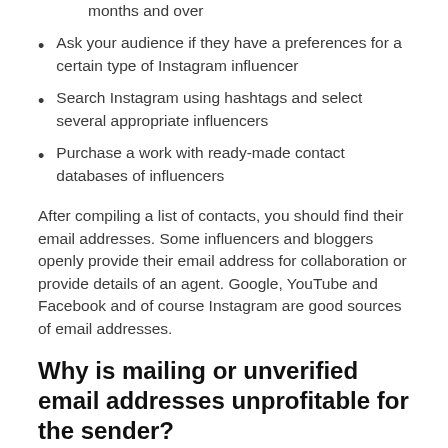months and over
Ask your audience if they have a preferences for a certain type of Instagram influencer
Search Instagram using hashtags and select several appropriate influencers
Purchase a work with ready-made contact databases of influencers
After compiling a list of contacts, you should find their email addresses. Some influencers and bloggers openly provide their email address for collaboration or provide details of an agent. Google, YouTube and Facebook and of course Instagram are good sources of email addresses.
Why is mailing or unverified email addresses unprofitable for the sender?
It's all about the bounce rate: the more bounced emails